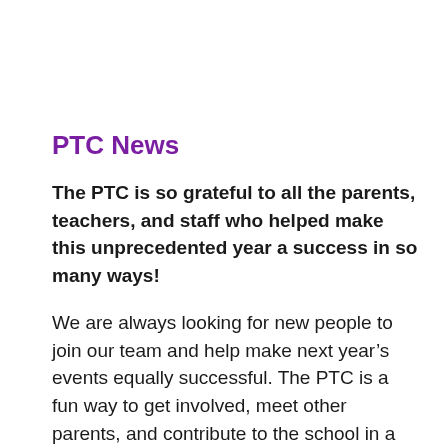PTC News
The PTC is so grateful to all the parents, teachers, and staff who helped make this unprecedented year a success in so many ways!
We are always looking for new people to join our team and help make next year’s events equally successful. The PTC is a fun way to get involved, meet other parents, and contribute to the school in a meaningful way. Below are a few roles for next